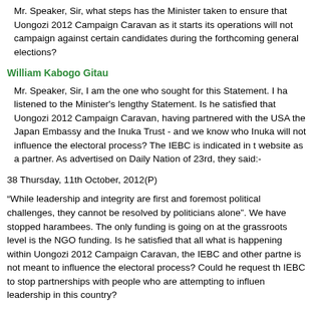Mr. Speaker, Sir, what steps has the Minister taken to ensure that Uongozi 2012 Campaign Caravan as it starts its operations will not campaign against certain candidates during the forthcoming general elections?
William Kabogo Gitau
Mr. Speaker, Sir, I am the one who sought for this Statement. I have listened to the Minister's lengthy Statement. Is he satisfied that Uongozi 2012 Campaign Caravan, having partnered with the USA, the Japan Embassy and the Inuka Trust - and we know who Inuka will not influence the electoral process? The IEBC is indicated in the website as a partner. As advertised on Daily Nation of 23rd, they said:-
38 Thursday, 11th October, 2012(P)
“While leadership and integrity are first and foremost political challenges, they cannot be resolved by politicians alone”. We have stopped harambees. The only funding is going on at the grassroots level is the NGO funding. Is he satisfied that all what is happening within Uongozi 2012 Campaign Caravan, the IEBC and other partners is not meant to influence the electoral process? Could he request the IEBC to stop partnerships with people who are attempting to influence leadership in this country?